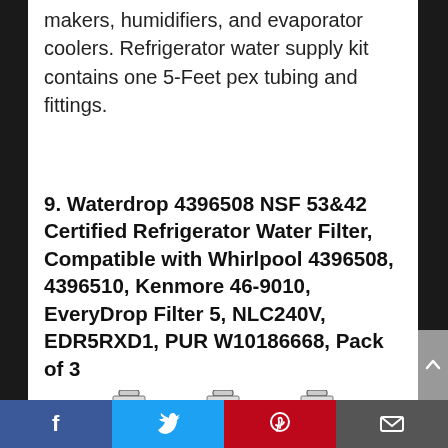makers, humidifiers, and evaporator coolers. Refrigerator water supply kit contains one 5-Feet pex tubing and fittings.
9. Waterdrop 4396508 NSF 53&42 Certified Refrigerator Water Filter, Compatible with Whirlpool 4396508, 4396510, Kenmore 46-9010, EveryDrop Filter 5, NLC240V, EDR5RXD1, PUR W10186668, Pack of 3
[Figure (photo): Three white refrigerator water filters with black rubber gaskets at the top, shown side by side, partially cut off at the bottom of the image.]
Facebook | Twitter | Pinterest | Email